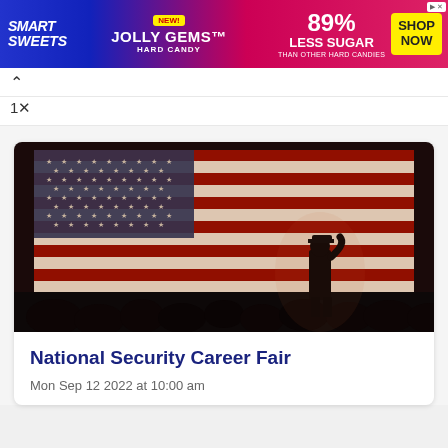[Figure (infographic): SmartSweets Jolly Gems Hard Candy advertisement banner: 89% Less Sugar than other hard candies, Shop Now button]
[Figure (photo): Silhouette of a military person saluting in front of a large American flag, with audience silhouettes in the foreground]
National Security Career Fair
Mon Sep 12 2022 at 10:00 am